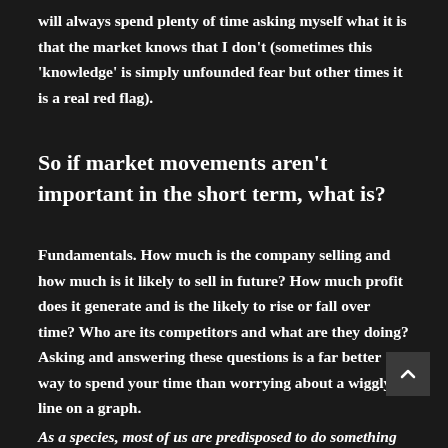will always spend plenty of time asking myself what it is that the market knows that I don't (sometimes this 'knowledge' is simply unfounded fear but other times it is a real red flag).
So if market movements aren't important in the short term, what is?
Fundamentals. How much is the company selling and how much is it likely to sell in future? How much profit does it generate and is the likely to rise or fall over time? Who are its competitors and what are they doing? Asking and answering these questions is a far better way to spend your time than worrying about a wiggly line on a graph.
As a species, most of us are predisposed to do something